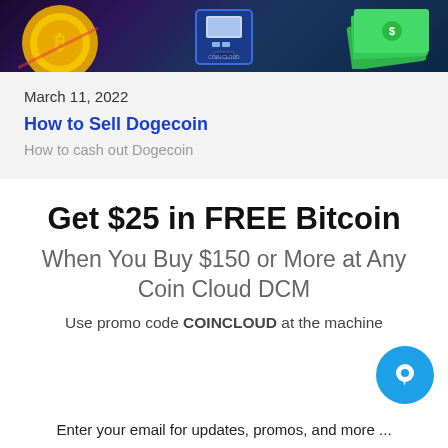[Figure (photo): Banner image showing a gold Bitcoin coin on the left, a Coin Cloud ATM machine in the center, and green money/cash on the right, all against a dark purple/blue gradient background.]
March 11, 2022
How to Sell Dogecoin
How to cash out Dogecoin
Get $25 in FREE Bitcoin
When You Buy $150 or More at Any Coin Cloud DCM
Use promo code COINCLOUD at the machine
Enter your email for updates, promos, and more ...